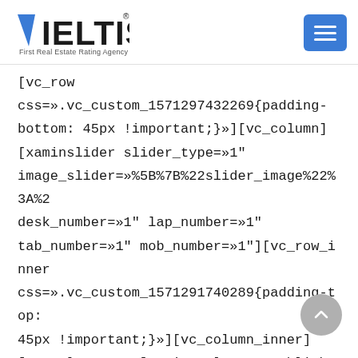VELTIS - First Real Estate Rating Agency
[vc_row css=».vc_custom_1571297432269{padding-bottom: 45px !important;}»][vc_column] [xaminslider slider_type=»1" image_slider=»%5B%7B%22slider_image%22%3A%2 desk_number=»1" lap_number=»1" tab_number=»1" mob_number=»1"][vc_row_inner css=».vc_custom_1571291740289{padding-top: 45px !important;}»][vc_column_inner] [vc_column_text]It is a long established fact that a reader will be distracted by the readable content of a page when looking at its layout. The point of